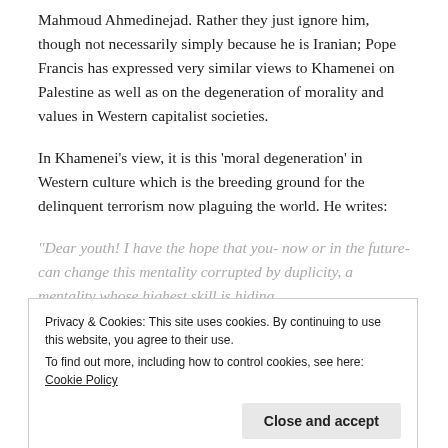Mahmoud Ahmedinejad. Rather they just ignore him, though not necessarily simply because he is Iranian; Pope Francis has expressed very similar views to Khamenei on Palestine as well as on the degeneration of morality and values in Western capitalist societies.
In Khamenei’s view, it is this ‘moral degeneration’ in Western culture which is the breeding ground for the delinquent terrorism now plaguing the world. He writes:
“Dear youth! I have the hope that you- now or in the future- can change this mentality corrupted by duplicity, a mentality whose highest skill is hiding
Privacy & Cookies: This site uses cookies. By continuing to use this website, you agree to their use.
To find out more, including how to control cookies, see here: Cookie Policy
powerful supporters, is divided into “good” and “bad”